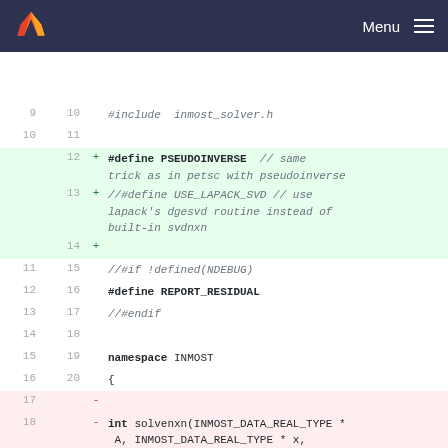Menu
[Figure (screenshot): GitLab diff view showing C++ header file changes. Lines 9-20 shown with old/new line numbers, additions highlighted in green and deletions in red. Added lines include #define PSEUDOINVERSE, //#define USE_LAPACK_SVD, and a blank line. Existing lines include //#if !defined(NDEBUG), #define REPORT_RESIDUAL, //#endif, namespace INMOST, {. Removed lines include blank line, int solvenxn function signature, and { brace.]